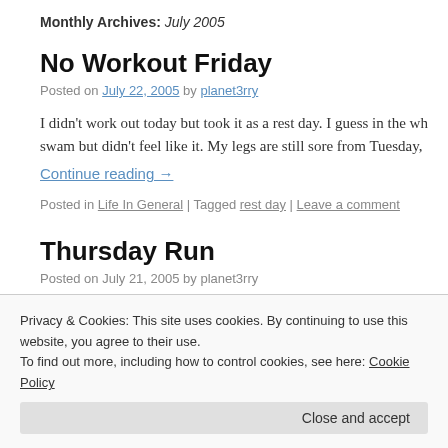Monthly Archives: July 2005
No Workout Friday
Posted on July 22, 2005 by planet3rry
I didn't work out today but took it as a rest day. I guess in the wh swam but didn't feel like it. My legs are still sore from Tuesday,
Continue reading →
Posted in Life In General | Tagged rest day | Leave a comment
Thursday Run
Posted on July 21, 2005 by planet3rry
Privacy & Cookies: This site uses cookies. By continuing to use this website, you agree to their use. To find out more, including how to control cookies, see here: Cookie Policy
Close and accept